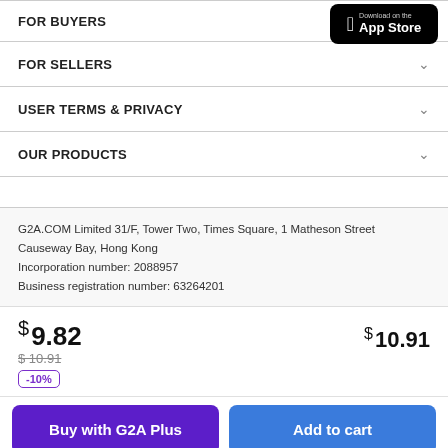FOR BUYERS
[Figure (screenshot): App Store download button (black, Apple logo)]
FOR SELLERS
USER TERMS & PRIVACY
OUR PRODUCTS
G2A.COM Limited 31/F, Tower Two, Times Square, 1 Matheson Street Causeway Bay, Hong Kong
Incorporation number: 2088957
Business registration number: 63264201
$ 9.82
$10.91 (strikethrough)
-10%
$ 10.91
Buy with G2A Plus
Add to cart